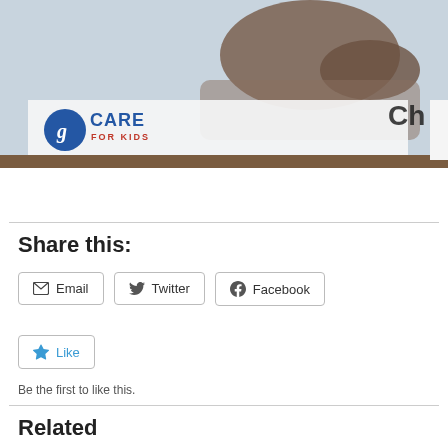[Figure (photo): Photo showing an animal (cat or dog) on a light blue-gray background, with a 'GI Care for Kids' logo visible at the bottom left of the image. Partial text 'Ch...' visible on the right side.]
Share this:
Email
Twitter
Facebook
Like
Be the first to like this.
Related